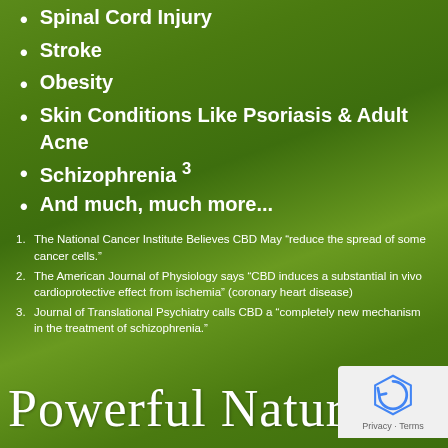Spinal Cord Injury
Stroke
Obesity
Skin Conditions Like Psoriasis & Adult Acne
Schizophrenia 3
And much, much more...
1. The National Cancer Institute Believes CBD May “reduce the spread of some cancer cells.”
2. The American Journal of Physiology says “CBD induces a substantial in vivo cardioprotective effect from ischemia” (coronary heart disease)
3. Journal of Translational Psychiatry calls CBD a “completely new mechanism in the treatment of schizophrenia.”
[Figure (illustration): Cursive script text reading 'Powerful Natural Re...' in white against green background, with reCAPTCHA badge in lower right corner]